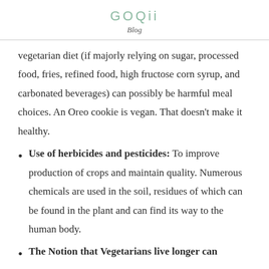GOQii
Blog
vegetarian diet (if majorly relying on sugar, processed food, fries, refined food, high fructose corn syrup, and carbonated beverages) can possibly be harmful meal choices. An Oreo cookie is vegan. That doesn't make it healthy.
Use of herbicides and pesticides: To improve production of crops and maintain quality. Numerous chemicals are used in the soil, residues of which can be found in the plant and can find its way to the human body.
The Notion that Vegetarians live longer can